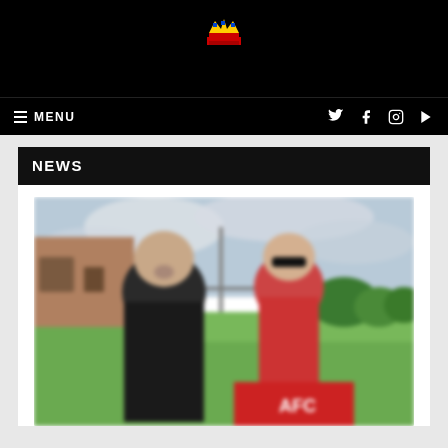[Figure (logo): Small colorful pixel-art style logo/crown icon on black background]
≡ MENU
NEWS
[Figure (photo): Two men standing outdoors at a football ground. The man on the left is heavier-set with a beard wearing a black t-shirt. The man on the right is wearing sunglasses and holding a red AFC football scarf. Green grass and trees visible in background with cloudy sky.]